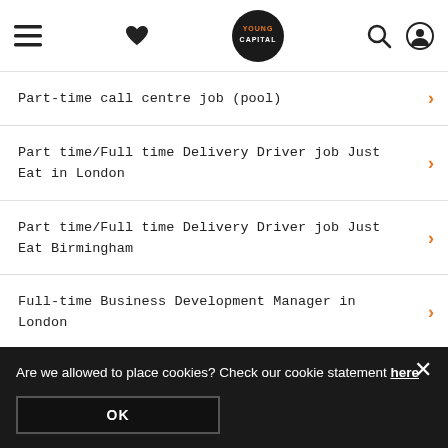YoungCapital navigation bar
Part-time call centre job (pool)
Part time/Full time Delivery Driver job Just Eat in London
Part time/Full time Delivery Driver job Just Eat Birmingham
Full-time Business Development Manager in London
Financial advisory job in London (pool vacancy)
… in Edinburgh
…cation: Palm House Medical Practice, 7 … licately, KY1-2PGS…ary/funding: Current…
Are we allowed to place cookies? Check our cookie statement here
OK